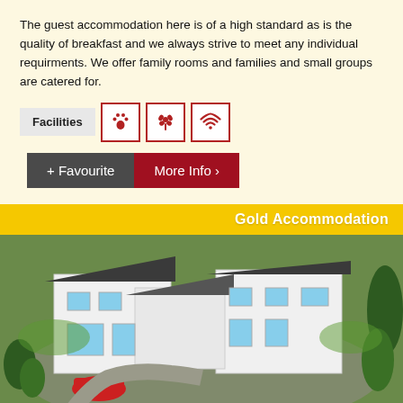The guest accommodation here is of a high standard as is the quality of breakfast and we always strive to meet any individual requirments. We offer family rooms and families and small groups are catered for.
Facilities [pet-friendly icon] [garden/flower icon] [wifi icon]
+ Favourite  More Info >
[Figure (photo): Aerial view of a large white B&B / guest house with dark roof, surrounded by green lawn, driveway, trees, and a red car parked in front. Gold Accommodation label overlaid at top right.]